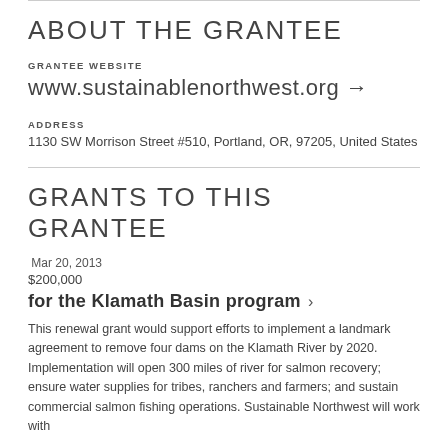ABOUT THE GRANTEE
GRANTEE WEBSITE
www.sustainablenorthwest.org →
ADDRESS
1130 SW Morrison Street #510, Portland, OR, 97205, United States
GRANTS TO THIS GRANTEE
Mar 20, 2013
$200,000
for the Klamath Basin program ›
This renewal grant would support efforts to implement a landmark agreement to remove four dams on the Klamath River by 2020. Implementation will open 300 miles of river for salmon recovery; ensure water supplies for tribes, ranchers and farmers; and sustain commercial salmon fishing operations. Sustainable Northwest will work with